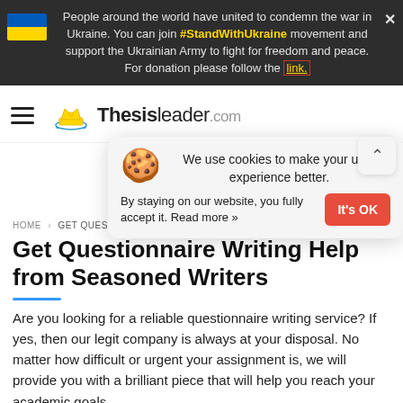People around the world have united to condemn the war in Ukraine. You can join #StandWithUkraine movement and support the Ukrainian Army to fight for freedom and peace. For donation please follow the link.
[Figure (logo): ThesisLeader.com logo with crown icon and hamburger menu]
We use cookies to make your user experience better. By staying on our website, you fully accept it. Read more »
HOME > GET QUESTIONNAIRE WRITING HELP FROM SEASONED WRITERS
Get Questionnaire Writing Help from Seasoned Writers
Are you looking for a reliable questionnaire writing service? If yes, then our legit company is always at your disposal. No matter how difficult or urgent your assignment is, we will provide you with a brilliant piece that will help you reach your academic goals.